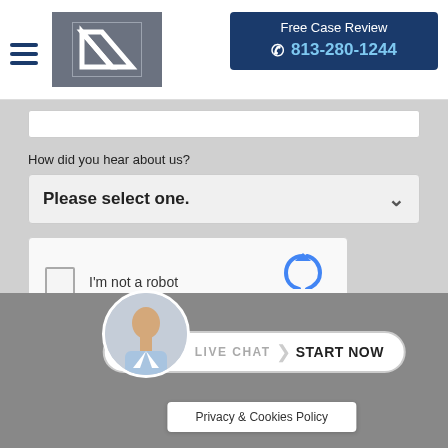Free Case Review 813-280-1244
How did you hear about us?
Please select one.
[Figure (screenshot): reCAPTCHA widget with checkbox and 'I'm not a robot' label]
SEND
LIVE CHAT START NOW
Privacy & Cookies Policy